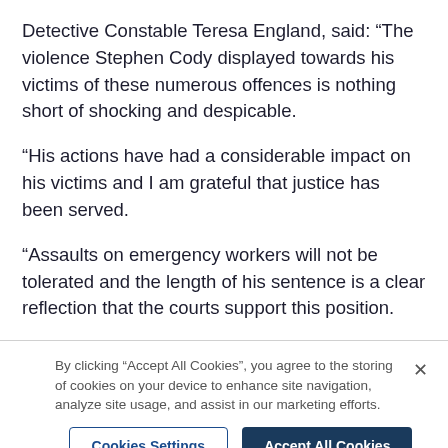Detective Constable Teresa England, said: “The violence Stephen Cody displayed towards his victims of these numerous offences is nothing short of shocking and despicable.
“His actions have had a considerable impact on his victims and I am grateful that justice has been served.
“Assaults on emergency workers will not be tolerated and the length of his sentence is a clear reflection that the courts support this position.
“This investigation reflects a considerable level of team work across two constabularies to ensure Cody
By clicking “Accept All Cookies”, you agree to the storing of cookies on your device to enhance site navigation, analyze site usage, and assist in our marketing efforts.
Cookies Settings
Accept All Cookies